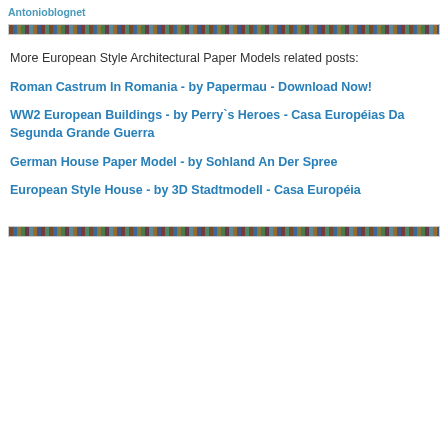Antonioblognet
[Figure (illustration): Horizontal banner strip with repeating collage of small colorful images]
More European Style Architectural Paper Models related posts:
Roman Castrum In Romania - by Papermau - Download Now!
WW2 European Buildings - by Perry`s Heroes - Casa Européias Da Segunda Grande Guerra
German House Paper Model - by Sohland An Der Spree
European Style House - by 3D Stadtmodell - Casa Européia
[Figure (illustration): Horizontal banner strip with repeating collage of small colorful images]